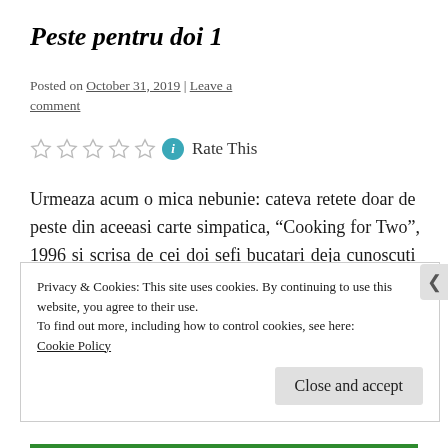Peste pentru doi 1
Posted on October 31, 2019 | Leave a comment
Rate This
Urmeaza acum o mica nebunie: cateva retete doar de peste din aceeasi carte simpatica, “Cooking for Two”, 1996 si scrisa de cei doi sefi bucatari deja cunoscuti ;), Richard Olney si Simon Wheeler. Pentru ca zisesem in urma cu cateva postari ca voi reveni cu o reteta
Privacy & Cookies: This site uses cookies. By continuing to use this website, you agree to their use.
To find out more, including how to control cookies, see here:
Cookie Policy